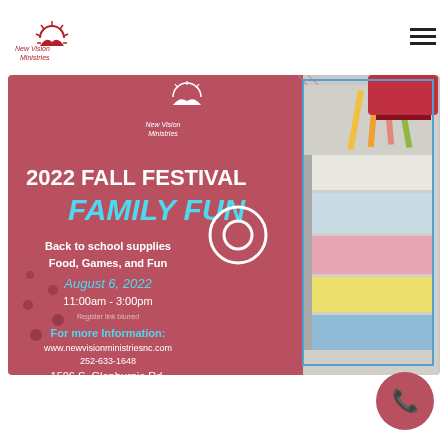[Figure (logo): New Vision Ministries logo: sun rising over hills with text 'New Vision Ministries' in dark red]
[Figure (illustration): Hamburger menu icon (three horizontal lines) in top right corner]
[Figure (infographic): 2022 Fall Festival Family Fun event flyer for New Vision Ministries. Dark rose/mauve background on left with decorative school supply doodles. White text: '2022 FALL FESTIVAL', cyan text: 'FAMILY FUN'. Details: Back to school supplies, Food, Games, and Fun. Date: August 6, 2022 in cyan. Time: 11:00am - 3:00pm. Register link (blurred). Bold cyan: 'For more Information:'. Website: www.newvisionministriesnc.com. Phone: 252-633-1648. Address: 1506 S. Glenburnie Rd., New Bern N.C. Right side shows photograph of stacked school notebooks, pencils, and a backpack.]